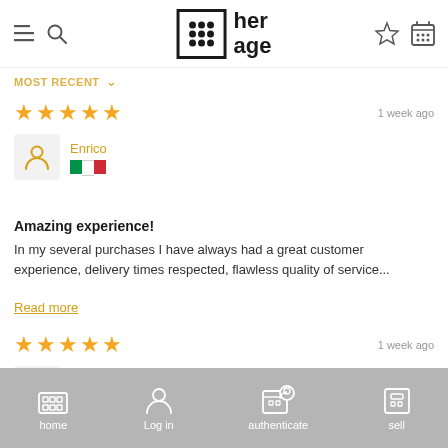her age — app header with menu, search, logo, wishlist, cart icons
Most Recent ▾
★★★★★  1 week ago
Enrico — Italy flag
Amazing experience!
In my several purchases I have always had a great customer experience, delivery times respected, flawless quality of service...
Read more
★★★★★  1 week ago
Elena
home  Log in  authenticate  sell